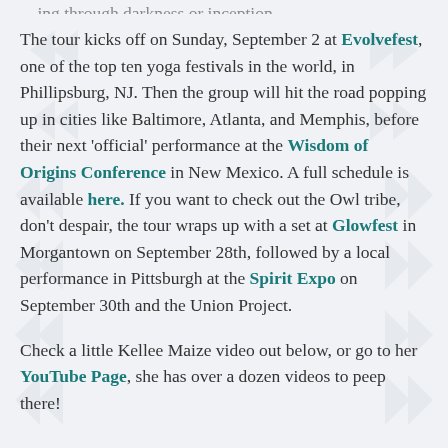The tour kicks off on Sunday, September 2 at Evolvefest, one of the top ten yoga festivals in the world, in Phillipsburg, NJ. Then the group will hit the road popping up in cities like Baltimore, Atlanta, and Memphis, before their next 'official' performance at the Wisdom of Origins Conference in New Mexico. A full schedule is available here. If you want to check out the Owl tribe, don't despair, the tour wraps up with a set at Glowfest in Morgantown on September 28th, followed by a local performance in Pittsburgh at the Spirit Expo on September 30th and the Union Project.
Check a little Kellee Maize video out below, or go to her YouTube Page, she has over a dozen videos to peep there!